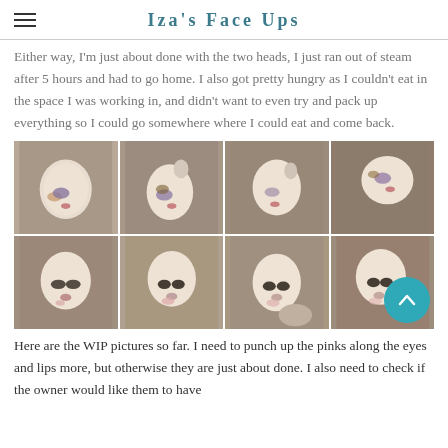Iza's Face Ups
Either way, I'm just about done with the two heads, I just ran out of steam after 5 hours and had to go home. I also got pretty hungry as I couldn't eat in the space I was working in, and didn't want to even try and pack up everything so I could go somewhere where I could eat and come back.
[Figure (photo): A 4x2 grid of WIP doll face-up photos showing two doll heads at various angles with partial face-up makeup including purple eyeshadow and pink lips.]
Here are the WIP pictures so far. I need to punch up the pinks along the eyes and lips more, but otherwise they are just about done. I also need to check if the owner would like them to have